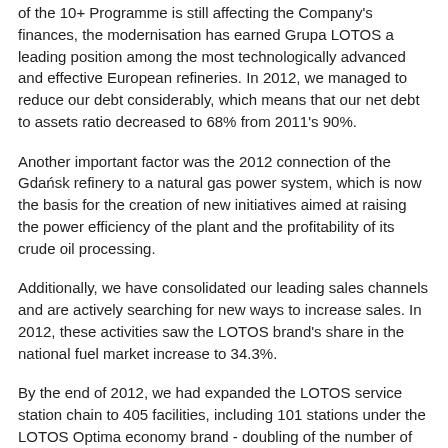of the 10+ Programme is still affecting the Company's finances, the modernisation has earned Grupa LOTOS a leading position among the most technologically advanced and effective European refineries. In 2012, we managed to reduce our debt considerably, which means that our net debt to assets ratio decreased to 68% from 2011's 90%.
Another important factor was the 2012 connection of the Gdańsk refinery to a natural gas power system, which is now the basis for the creation of new initiatives aimed at raising the power efficiency of the plant and the profitability of its crude oil processing.
Additionally, we have consolidated our leading sales channels and are actively searching for new ways to increase sales. In 2012, these activities saw the LOTOS brand's share in the national fuel market increase to 34.3%.
By the end of 2012, we had expanded the LOTOS service station chain to 405 facilities, including 101 stations under the LOTOS Optima economy brand - doubling of the number of stations in this segment since 2012. Our share in the retail market as at the end of